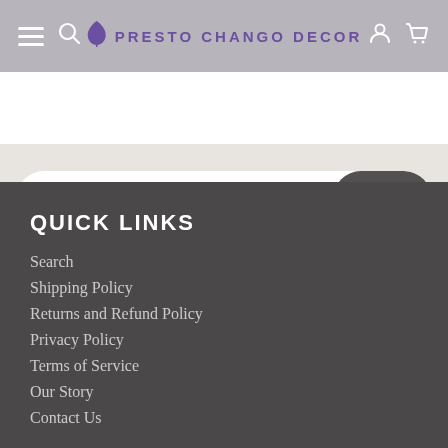Presto Chango Decor — navigation bar with hamburger menu, search, logo, account, and cart icons
Email address JOIN
QUICK LINKS
Search
Shipping Policy
Returns and Refund Policy
Privacy Policy
Terms of Service
Our Story
Contact Us